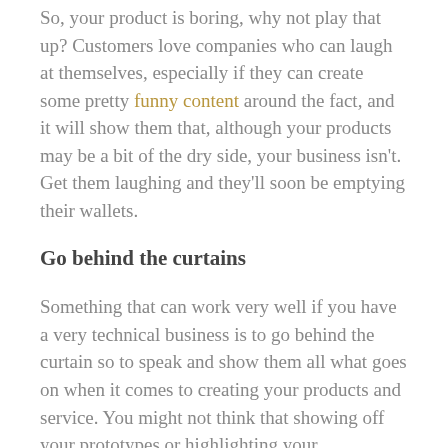So, your product is boring, why not play that up? Customers love companies who can laugh at themselves, especially if they can create some pretty funny content around the fact, and it will show them that, although your products may be a bit of the dry side, your business isn't. Get them laughing and they'll soon be emptying their wallets.
Go behind the curtains
Something that can work very well if you have a very technical business is to go behind the curtain so to speak and show them all what goes on when it comes to creating your products and service. You might not think that showing off your prototypes or highlighting your manufacturing processes will go down to a...